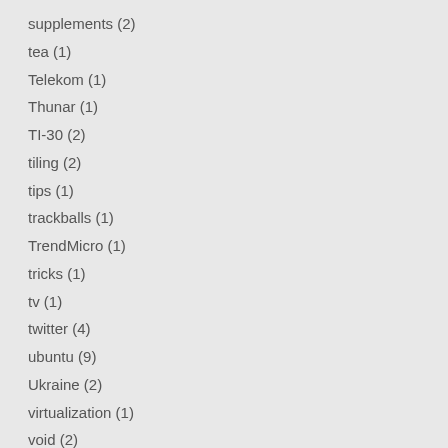supplements (2)
tea (1)
Telekom (1)
Thunar (1)
TI-30 (2)
tiling (2)
tips (1)
trackballs (1)
TrendMicro (1)
tricks (1)
tv (1)
twitter (4)
ubuntu (9)
Ukraine (2)
virtualization (1)
void (2)
vpn (2)
warpinator (1)
watches (1)
weather (4)
Wiko (6)
xfce (13)
ubuntu (2)